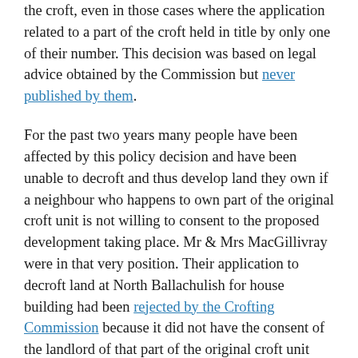the croft, even in those cases where the application related to a part of the croft held in title by only one of their number. This decision was based on legal advice obtained by the Commission but never published by them.
For the past two years many people have been affected by this policy decision and have been unable to decroft and thus develop land they own if a neighbour who happens to own part of the original croft unit is not willing to consent to the proposed development taking place. Mr & Mrs MacGillivray were in that very position. Their application to decroft land at North Ballachulish for house building had been rejected by the Crofting Commission because it did not have the consent of the landlord of that part of the original croft unit that remained in tenancy. Mr & Mrs MacGillivray referred the matter to the Scottish Land Court who decided that the Crofting Commission were wrong and it was competent for an owner of part of a croft to seek to decroft without requiring the consent of any other owners of the original